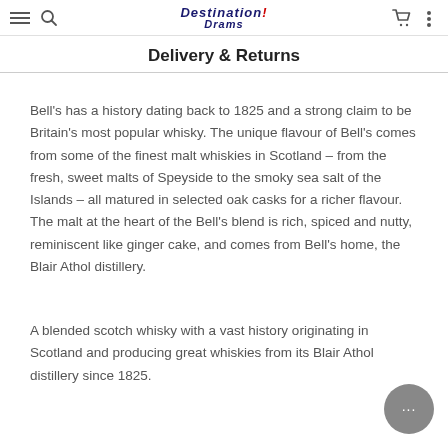Destination Drams — Delivery & Returns
Delivery & Returns
Bell's has a history dating back to 1825 and a strong claim to be Britain's most popular whisky. The unique flavour of Bell's comes from some of the finest malt whiskies in Scotland – from the fresh, sweet malts of Speyside to the smoky sea salt of the Islands – all matured in selected oak casks for a richer flavour. The malt at the heart of the Bell's blend is rich, spiced and nutty, reminiscent like ginger cake, and comes from Bell's home, the Blair Athol distillery.
A blended scotch whisky with a vast history originating in Scotland and producing great whiskies from its Blair Athol distillery since 1825.